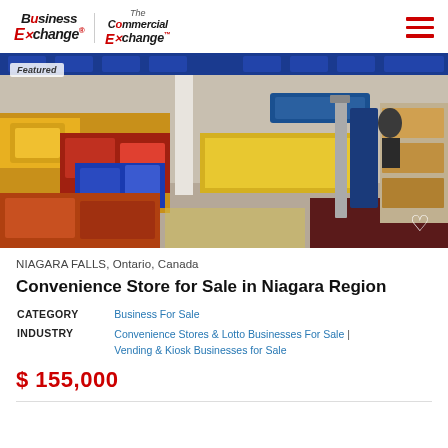Business Exchange | The Commercial Exchange
[Figure (photo): Interior of a convenience store showing shelves stocked with chips, snacks, candy and other products. Blue Pepsi banner visible along the top. Includes a lottery counter and magazine/snack racks. Featured badge in top left corner, heart/wishlist icon in bottom right.]
NIAGARA FALLS, Ontario, Canada
Convenience Store for Sale in Niagara Region
CATEGORY: Business For Sale
INDUSTRY: Convenience Stores & Lotto Businesses For Sale | Vending & Kiosk Businesses for Sale
$ 155,000